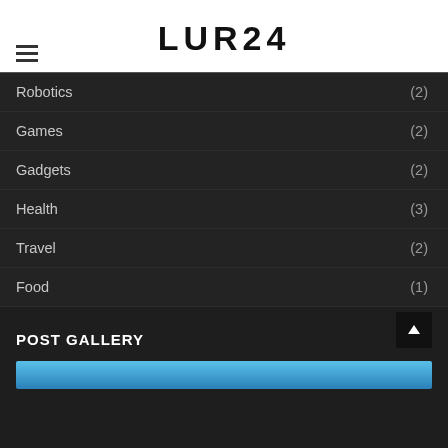LUR24
Robotics (2)
Games (2)
Gadgets (2)
Health (3)
Travel (2)
Food (1)
POST GALLERY
[Figure (photo): Gallery preview image strip, light blue/teal color]